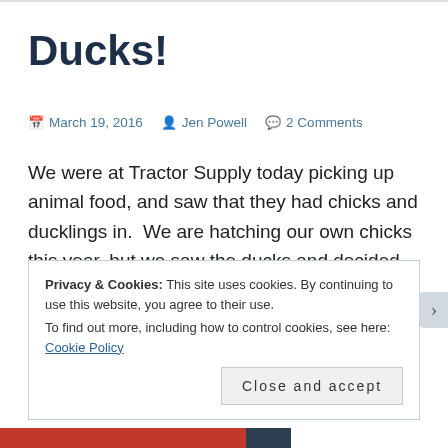Ducks!
📅 March 19, 2016  👤 Jen Powell  💬 2 Comments
We were at Tractor Supply today picking up animal food, and saw that they had chicks and ducklings in.  We are hatching our own chicks this year, but we saw the ducks and decided to get some.  My husband has talked about wanting ducks for a couple years, and I thought it would
Privacy & Cookies: This site uses cookies. By continuing to use this website, you agree to their use.
To find out more, including how to control cookies, see here: Cookie Policy
Close and accept